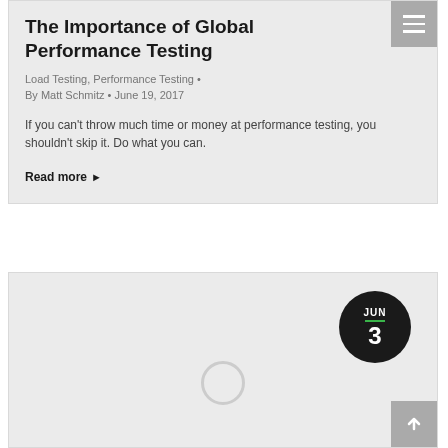The Importance of Global Performance Testing
Load Testing, Performance Testing · By Matt Schmitz · June 19, 2017
If you can't throw much time or money at performance testing, you shouldn't skip it. Do what you can.
Read more ▶
[Figure (other): Article card with date badge showing JUN 3, a loading spinner circle, and a back-to-top arrow button]